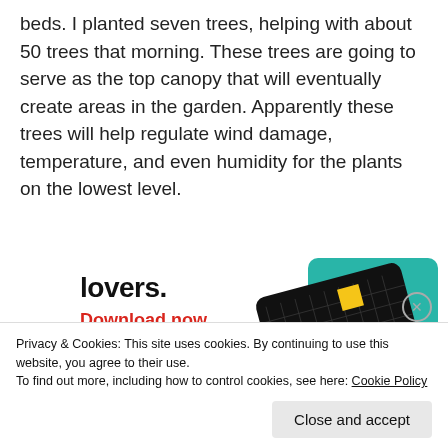beds. I planted seven trees, helping with about 50 trees that morning. These trees are going to serve as the top canopy that will eventually create areas in the garden. Apparently these trees will help regulate wind damage, temperature, and even humidity for the plants on the lowest level.
[Figure (infographic): Advertisement showing the text 'lovers.' in bold black, 'Download now' in red, and images of podcast app cards including '99% INVISIBLE' on a dark card with grid pattern, a teal card, and a blue card.]
Privacy & Cookies: This site uses cookies. By continuing to use this website, you agree to their use.
To find out more, including how to control cookies, see here: Cookie Policy
Close and accept